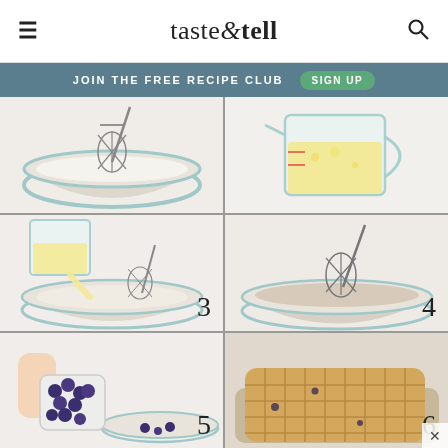taste & tell
JOIN THE FREE RECIPE CLUB  SIGN UP
[Figure (photo): Step 1: Whisk and dry ingredients (flour) in a glass bowl]
[Figure (photo): Step 2: Wet ingredients (yellow batter) in a glass measuring cup]
[Figure (photo): Step 3: Pouring wet ingredients from measuring cup into bowl with dry ingredients and whisk]
[Figure (photo): Step 4: Mixed batter in glass bowl with whisk]
[Figure (photo): Step 5: Hand holding cup of blueberries over batter in bowl]
[Figure (photo): Step 6: Cooked golden waffle on waffle iron]